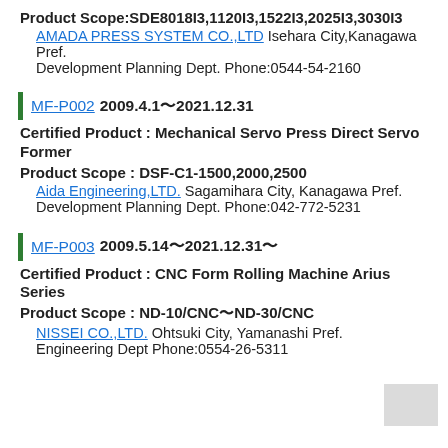Product Scope:SDE8018I3,1120I3,1522I3,2025I3,3030I3
AMADA PRESS SYSTEM CO.,LTD Isehara City,Kanagawa Pref.
Development Planning Dept. Phone:0544-54-2160
MF-P002 2009.4.1〜2021.12.31
Certified Product : Mechanical Servo Press Direct Servo Former
Product Scope : DSF-C1-1500,2000,2500
Aida Engineering,LTD. Sagamihara City, Kanagawa Pref.
Development Planning Dept. Phone:042-772-5231
MF-P003 2009.5.14〜2021.12.31〜
Certified Product : CNC Form Rolling Machine Arius Series
Product Scope : ND-10/CNC〜ND-30/CNC
NISSEI CO.,LTD. Ohtsuki City, Yamanashi Pref.
Engineering Dept Phone:0554-26-5311